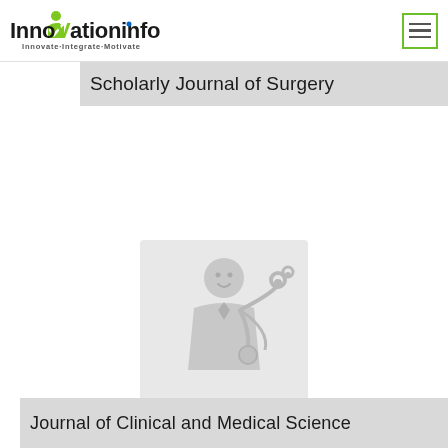Innovationinfo — Innovate·Integrate·Motivate
Scholarly Journal of Surgery
[Figure (illustration): Medical doctor icon with stethoscope on light gray background]
Journal of Clinical and Medical Science